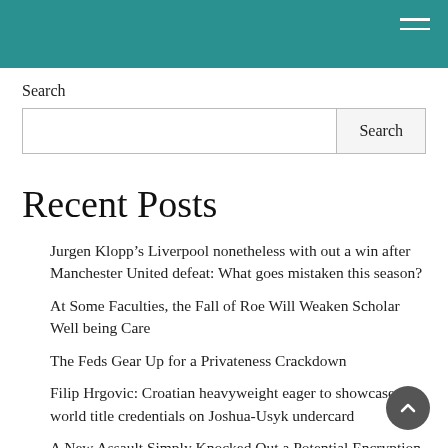Search
Search
Recent Posts
Jurgen Klopp’s Liverpool nonetheless with out a win after Manchester United defeat: What goes mistaken this season?
At Some Faculties, the Fall of Roe Will Weaken Scholar Well being Care
The Feds Gear Up for a Privateness Crackdown
Filip Hrgovic: Croatian heavyweight eager to showcase his world title credentials on Joshua-Usyk undercard
A New Assault Simply Knocked Out a Potential Encryption Algorithm